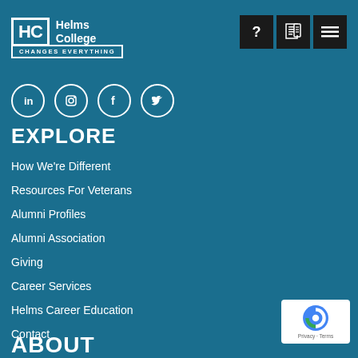[Figure (logo): Helms College logo with HC in a box and 'CHANGES EVERYTHING' tagline]
[Figure (infographic): Three dark navigation icon buttons: question mark, document/newspaper, hamburger menu]
[Figure (infographic): Social media icons: LinkedIn, Instagram, Facebook, Twitter in white circles]
EXPLORE
How We're Different
Resources For Veterans
Alumni Profiles
Alumni Association
Giving
Career Services
Helms Career Education
Contact
ABOUT